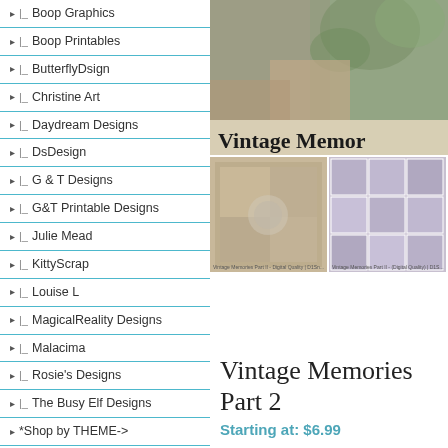|_ Boop Graphics
|_ Boop Printables
|_ ButterflyDsign
|_ Christine Art
|_ Daydream Designs
|_ DsDesign
|_ G & T Designs
|_ G&T Printable Designs
|_ Julie Mead
|_ KittyScrap
|_ Louise L
|_ MagicalReality Designs
|_ Malacima
|_ Rosie's Designs
|_ The Busy Elf Designs
*Shop by THEME->
*Shop by SEASONS->
*Shop by HOLIDAYS->
ESS Nifty Promotions
Bargain Deal$
*Artistic Use->
[Figure (photo): Vintage Memories Part 2 product image - top banner with decorative botanical/statue elements and text 'Vintage Memo']
[Figure (photo): Two thumbnail images side by side - left shows vintage collage scrapbook style image, right shows purple/gray grid pattern]
Vintage Memories Part 2
Starting at: $6.99